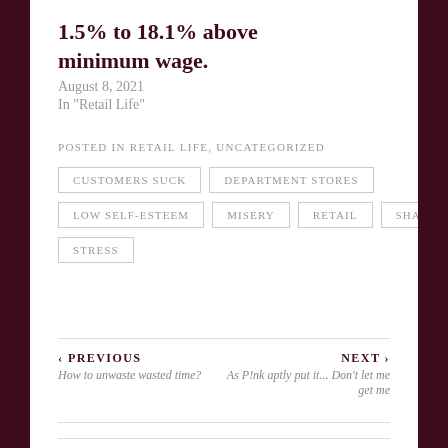1.5% to 18.1% above minimum wage.
August 8, 2021
In "Retail Life"
POSTED IN RETAIL LIFE, UNCATEGORIZED
CUSTOMERS SUCK
DEPARTMENT STORES
LOW SELF-ESTEEM
MISERY
RETAIL
SHAME
STRESS
‹ PREVIOUS
How to unwaste wasted time?
NEXT ›
As P!nk aptly put it... Don't let me get me